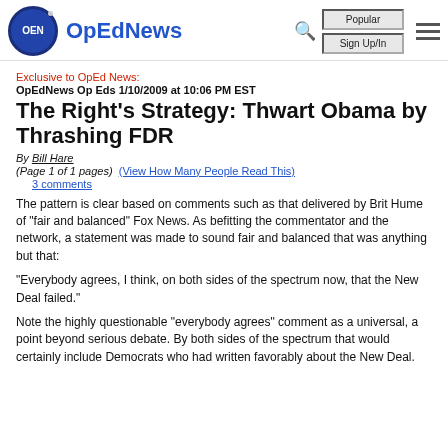OpEdNews
Exclusive to OpEd News:
OpEdNews Op Eds 1/10/2009 at 10:06 PM EST
The Right's Strategy: Thwart Obama by Thrashing FDR
By Bill Hare
(Page 1 of 1 pages)  (View How Many People Read This)
3 comments
The pattern is clear based on comments such as that delivered by Brit Hume of "fair and balanced" Fox News. As befitting the commentator and the network, a statement was made to sound fair and balanced that was anything but that:
"Everybody agrees, I think, on both sides of the spectrum now, that the New Deal failed."
Note the highly questionable "everybody agrees" comment as a universal, a point beyond serious debate. By both sides of the spectrum that would certainly include Democrats who had written favorably about the New Deal.